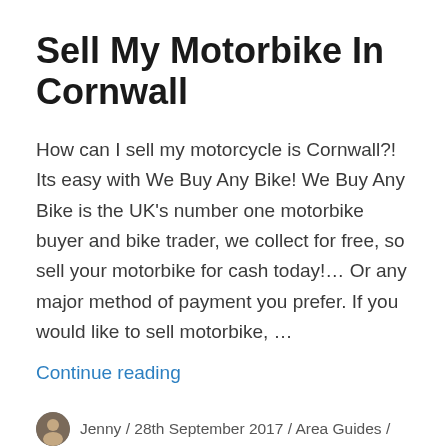Sell My Motorbike In Cornwall
How can I sell my motorcycle is Cornwall?! Its easy with We Buy Any Bike! We Buy Any Bike is the UK’s number one motorbike buyer and bike trader, we collect for free, so sell your motorbike for cash today!… Or any major method of payment you prefer. If you would like to sell motorbike, …
Continue reading
Jenny / 28th September 2017 / Area Guides / Leave a comment